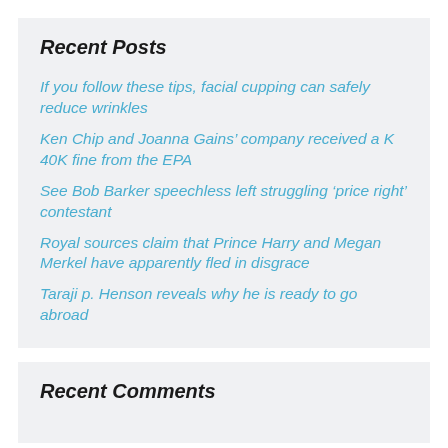Recent Posts
If you follow these tips, facial cupping can safely reduce wrinkles
Ken Chip and Joanna Gains’ company received a K 40K fine from the EPA
See Bob Barker speechless left struggling ‘price right’ contestant
Royal sources claim that Prince Harry and Megan Merkel have apparently fled in disgrace
Taraji p. Henson reveals why he is ready to go abroad
Recent Comments